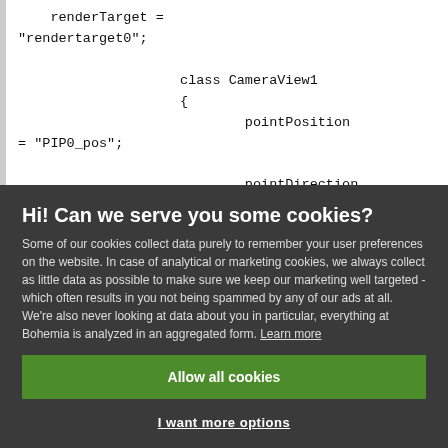renderTarget = "rendertarget0";

                    class CameraView1
                    {
                            pointPosition = "PIP0_pos";

                            pointDirection = "PIP0_dir";
Hi! Can we serve you some cookies?
Some of our cookies collect data purely to remember your user preferences on the website. In case of analytical or marketing cookies, we always collect as little data as possible to make sure we keep our marketing well targeted - which often results in you not being spammed by any of our ads at all. We're also never looking at data about you in particular, everything at Bohemia is analyzed in an aggregated form. Learn more
Allow all cookies
I want more options